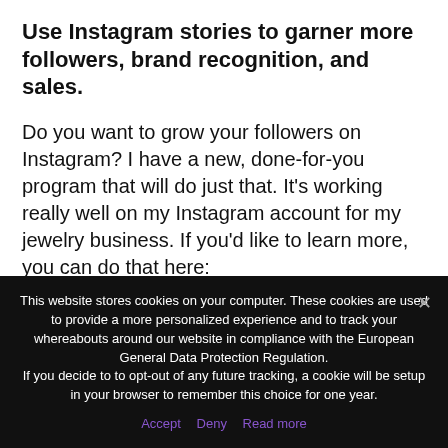Use Instagram stories to garner more followers, brand recognition, and sales.
Do you want to grow your followers on Instagram? I have a new, done-for-you program that will do just that. It's working really well on my Instagram account for my jewelry business. If you'd like to learn more, you can do that here: Instagram Marketing
This website stores cookies on your computer. These cookies are used to provide a more personalized experience and to track your whereabouts around our website in compliance with the European General Data Protection Regulation.
If you decide to to opt-out of any future tracking, a cookie will be setup in your browser to remember this choice for one year.
Accept  Deny  Read more